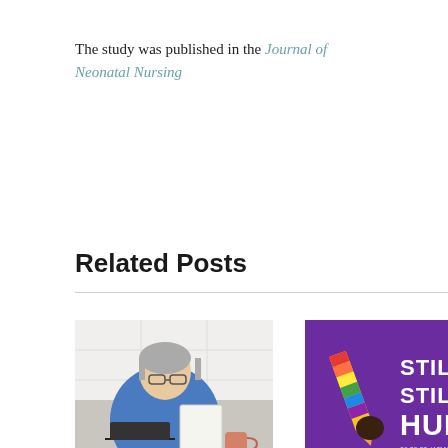The study was published in the Journal of Neonatal Nursing
Related Posts
[Figure (photo): Middle-aged woman with gray hair and glasses in blue shirt, reading a document at a desk with a laptop and mug in a white kitchen.]
[Figure (illustration): Purple background promotional graphic reading 'STILL ME, STILL HUMAN' with rainbow lightning bolt pencil graphic and text '26.08.22, WEAR IT PURPLE DAY']
Paying super on paid parental leave critical
Wear it Purple Day – Friday 26 August 2022